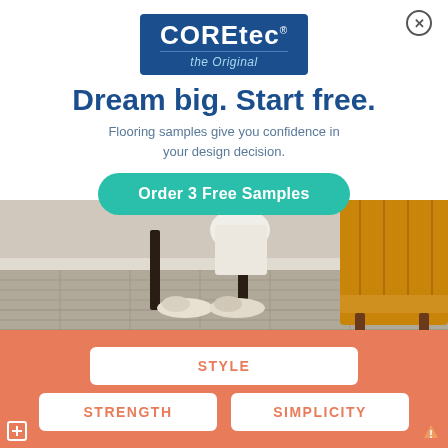[Figure (logo): COREtec the Original logo on dark blue background]
Dream big. Start free.
Flooring samples give you confidence in your design decision.
Order 3 Free Samples
[Figure (photo): Room scene with gray hardwood flooring, white slippers, bench legs, and yellow sofa]
STYLE
STRENGTH
SIMPLICITY